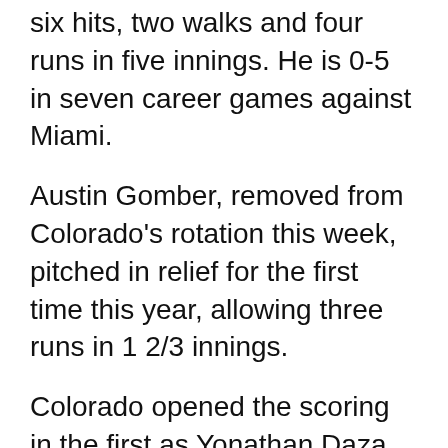six hits, two walks and four runs in five innings. He is 0-5 in seven career games against Miami.
Austin Gomber, removed from Colorado's rotation this week, pitched in relief for the first time this year, allowing three runs in 1 2/3 innings.
Colorado opened the scoring in the first as Yonathan Daza hit a leadoff double, advanced on Lopez's throwing error on a pickoff attempt and scored on Charlie Blackmon's sacrifice fly.
Miami batted around during a 40-pitch